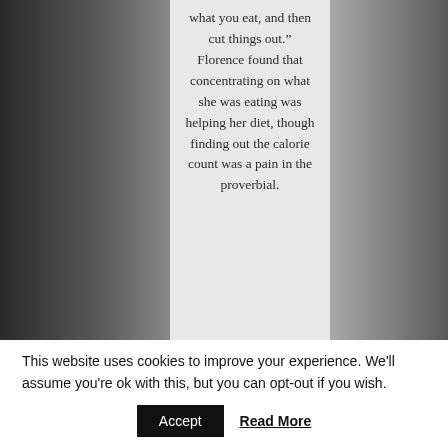[Figure (photo): Black and white background photo of a misty landscape with a tree on the left side, with a light grey center column overlaid containing text.]
what you eat, and then cut things out.” Florence found that concentrating on what she was eating was helping her diet, though finding out the calorie count was a pain in the proverbial.
This website uses cookies to improve your experience. We’ll assume you’re ok with this, but you can opt-out if you wish.